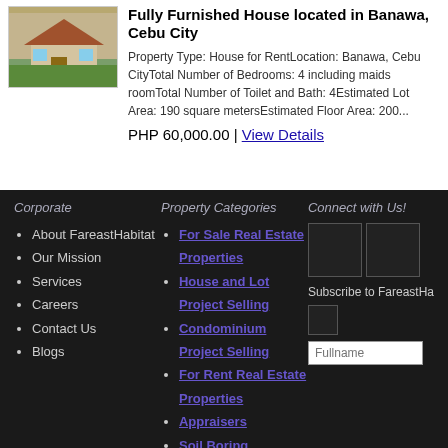[Figure (photo): Photo of a house exterior with tan/beige walls, stone accents, and green lawn]
Fully Furnished House located in Banawa, Cebu City
Property Type: House for RentLocation: Banawa, Cebu CityTotal Number of Bedrooms: 4 including maids roomTotal Number of Toilet and Bath: 4Estimated Lot Area: 190 square metersEstimated Floor Area: 200...
PHP 60,000.00 | View Details
Corporate
Property Categories
Connect with Us!
About FareastHabitat
Our Mission
Services
Careers
Contact Us
Blogs
For Sale Real Estate Properties
House and Lot Project Selling
Condominium Project Selling
For Rent Real Estate Properties
Appraisers
Soil Boring